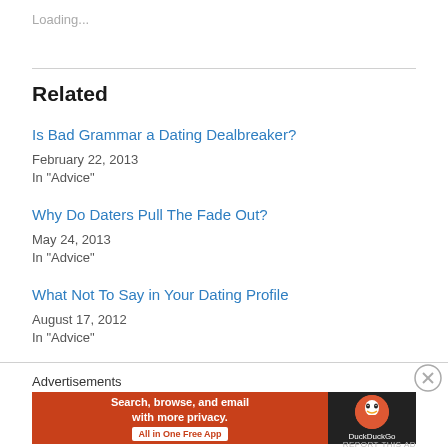Loading...
Related
Is Bad Grammar a Dating Dealbreaker?
February 22, 2013
In "Advice"
Why Do Daters Pull The Fade Out?
May 24, 2013
In "Advice"
What Not To Say in Your Dating Profile
August 17, 2012
In "Advice"
Advertisements
[Figure (screenshot): DuckDuckGo advertisement banner: orange left panel with white text 'Search, browse, and email with more privacy.' and 'All in One Free App' button; dark right panel with DuckDuckGo duck logo and 'DuckDuckGo' text]